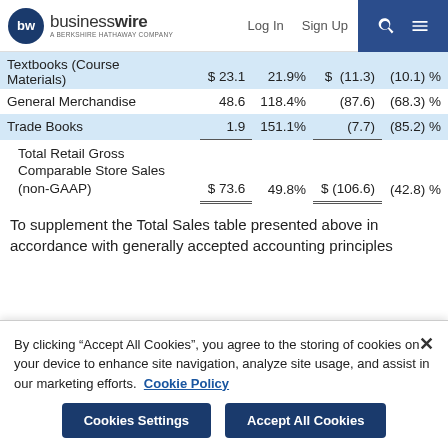businesswire – Log In  Sign Up
|  |  |  |  |  |
| --- | --- | --- | --- | --- |
| Textbooks (Course Materials) | $ 23.1 | 21.9% | $ (11.3) | (10.1)% |
| General Merchandise | 48.6 | 118.4% | (87.6) | (68.3)% |
| Trade Books | 1.9 | 151.1% | (7.7) | (85.2)% |
| Total Retail Gross Comparable Store Sales (non-GAAP) | $ 73.6 | 49.8% | $ (106.6) | (42.8)% |
To supplement the Total Sales table presented above in accordance with generally accepted accounting principles
By clicking “Accept All Cookies”, you agree to the storing of cookies on your device to enhance site navigation, analyze site usage, and assist in our marketing efforts.  Cookie Policy
Cookies Settings    Accept All Cookies